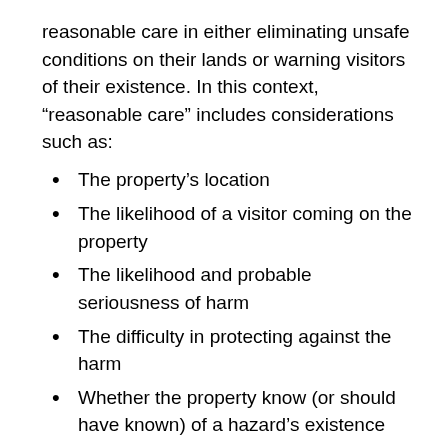reasonable care in either eliminating unsafe conditions on their lands or warning visitors of their existence. In this context, “reasonable care” includes considerations such as:
The property’s location
The likelihood of a visitor coming on the property
The likelihood and probable seriousness of harm
The difficulty in protecting against the harm
Whether the property know (or should have known) of a hazard’s existence
The extent to which the property owner could control the hazard